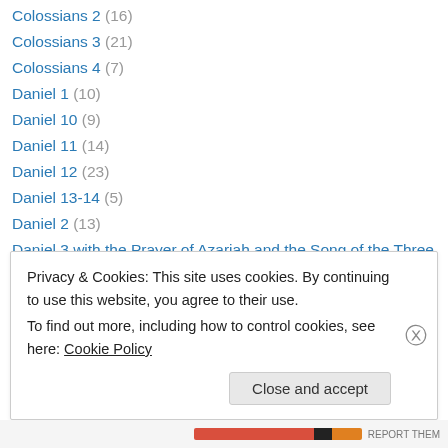Colossians 2 (16)
Colossians 3 (21)
Colossians 4 (7)
Daniel 1 (10)
Daniel 10 (9)
Daniel 11 (14)
Daniel 12 (23)
Daniel 13-14 (5)
Daniel 2 (13)
Daniel 3 with the Prayer of Azariah and the Song of the Three Young Men (23)
Daniel 4 (9)
Daniel 5 (7)
Privacy & Cookies: This site uses cookies. By continuing to use this website, you agree to their use. To find out more, including how to control cookies, see here: Cookie Policy
Close and accept